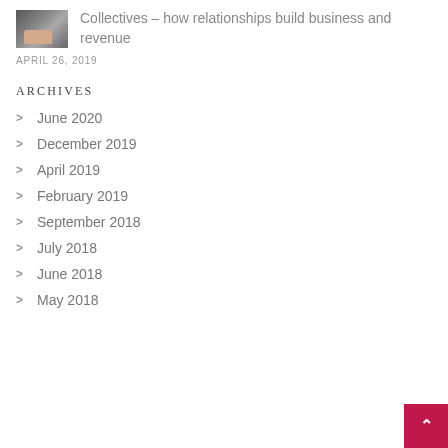[Figure (photo): Small thumbnail photo of hands on a laptop keyboard]
Collectives – how relationships build business and revenue
APRIL 26, 2019
ARCHIVES
June 2020
December 2019
April 2019
February 2019
September 2018
July 2018
June 2018
May 2018